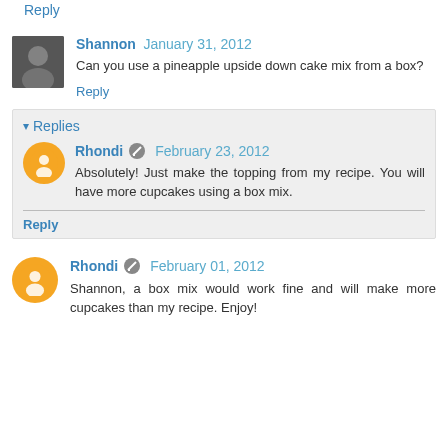Reply
Shannon January 31, 2012
Can you use a pineapple upside down cake mix from a box?
Reply
Replies
Rhondi February 23, 2012
Absolutely! Just make the topping from my recipe. You will have more cupcakes using a box mix.
Reply
Rhondi February 01, 2012
Shannon, a box mix would work fine and will make more cupcakes than my recipe. Enjoy!